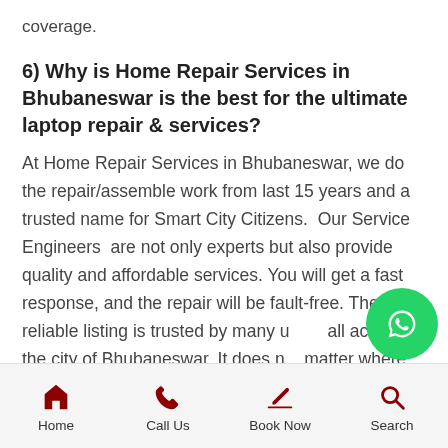coverage.
6) Why is Home Repair Services in Bhubaneswar is the best for the ultimate laptop repair & services?
At Home Repair Services in Bhubaneswar, we do the repair/assemble work from last 15 years and a trusted name for Smart City Citizens. Our Service Engineers are not only experts but also provide quality and affordable services. You will get a fast response, and the repair will be fault-free. The reliable listing is trusted by many users all across the city of Bhubaneswar. It does not matter where you stay in Bhubaneswar. We are
Home | Call Us | Book Now | Search